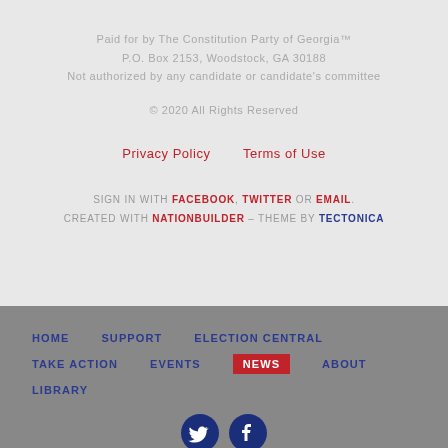Paid for by The Constitution Party of Georgia™
P.O. Box 2153, Woodstock, GA 30188
Not authorized by any candidate or candidate's committee
© 2020 All Rights Reserved
Privacy Policy   Terms of Use
SIGN IN WITH FACEBOOK, TWITTER OR EMAIL.
CREATED WITH NATIONBUILDER – THEME BY TECTONICA
HOME
SUPPORT
ELECTION CENTRAL
TAKE ACTION
EVENTS
NEWS
ABOUT
LIBRARY
[Figure (illustration): Twitter and Facebook social media icons in dark blue circles]